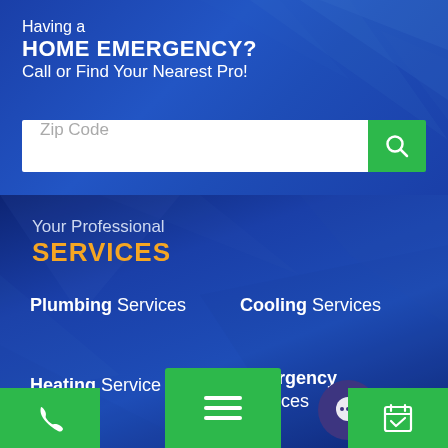Having a HOME EMERGENCY? Call or Find Your Nearest Pro!
[Figure (screenshot): Zip Code search bar with white input field and green search button]
Your Professional SERVICES
Plumbing Services
Cooling Services
Heating Services
Emergency Services